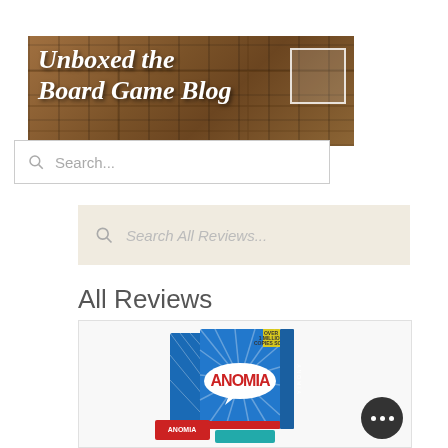[Figure (logo): Unboxed the Board Game Blog banner with wooden crate background texture and white cursive text]
Search...
Search All Reviews...
All Reviews
[Figure (photo): Anomia board game box product photo showing blue card game boxes stacked]